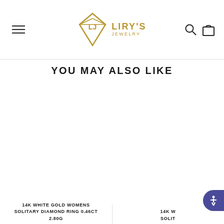Liry's Jewelry
YOU MAY ALSO LIKE
[Figure (photo): Product image area - 14K White Gold Womens Solitary Diamond Ring 0.46ct 2.80G (blank/white in original)]
14K WHITE GOLD WOMENS SOLITARY DIAMOND RING 0.46CT 2.80G
[Figure (photo): Second product image area - 14K White Gold Solitaire ring (partially visible, cut off)]
14K W SOLIT...